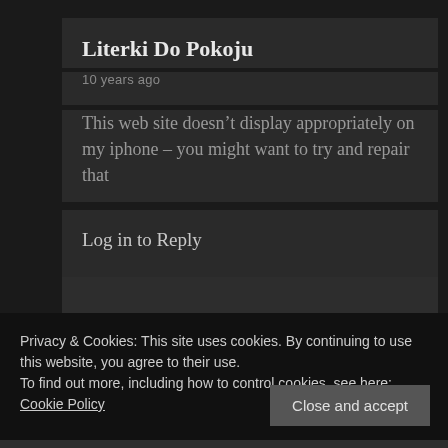Literki Do Pokoju
10 years ago
This web site doesn’t display appropriately on my iphone – you might want to try and repair that
Log in to Reply
Privacy & Cookies: This site uses cookies. By continuing to use this website, you agree to their use.
To find out more, including how to control cookies, see here: Cookie Policy
Close and accept